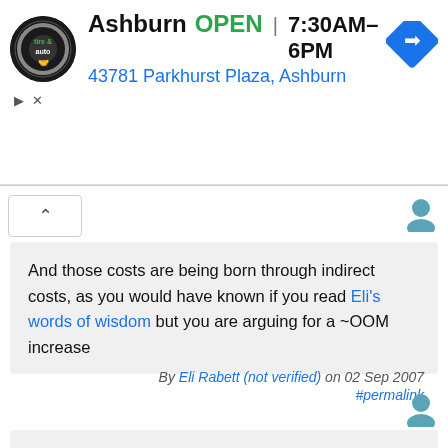[Figure (screenshot): Ad banner for Virginia Tire & Auto, Ashburn location. Logo on left, text: Ashburn OPEN | 7:30AM-6PM, address: 43781 Parkhurst Plaza, Ashburn, navigation arrow icon on right.]
And those costs are being born through indirect costs, as you would have known if you read Eli's words of wisdom but you are arguing for a ~OOM increase
By Eli Rabett (not verified) on 02 Sep 2007 #permalink
I have read your post, but I still don't see what your point is. Maybe because I don't know what ~OOM is. Addressing my specific points would be